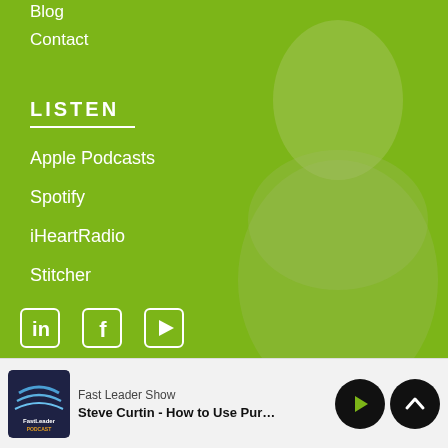Blog
Contact
LISTEN
Apple Podcasts
Spotify
iHeartRadio
Stitcher
[Figure (other): Social media icons: LinkedIn, Facebook, YouTube]
[Figure (screenshot): Podcast player bar showing Fast Leader Show logo, episode title 'Steve Curtin - How to Use Purpose to...', play and up buttons]